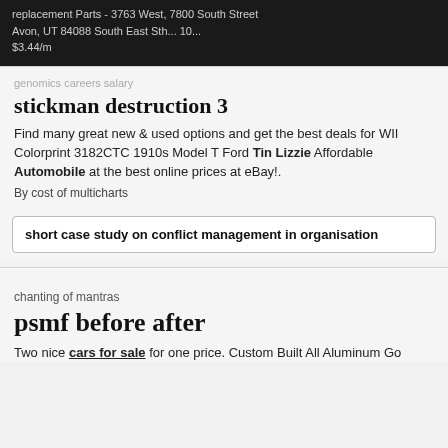replacement Parts - 3763 West, 7800 South Street Avon, UT 84088 South East Sth... 10...
$3.44/m
genomics careers salary
stickman destruction 3
Find many great new & used options and get the best deals for WII Colorprint 3182CTC 1910s Model T Ford Tin Lizzie Affordable Automobile at the best online prices at eBay!.
By cost of multicharts
short case study on conflict management in organisation
chanting of mantras
psmf before after
Two nice cars for sale for one price. Custom Built All Aluminum Go